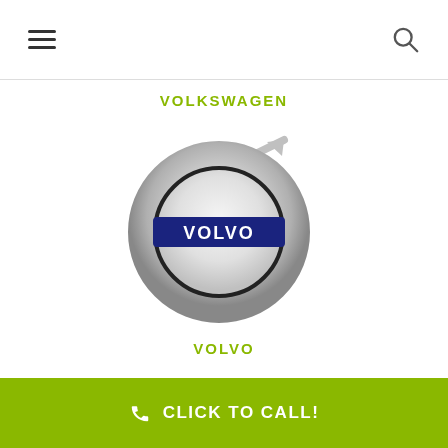VOLKSWAGEN
[Figure (logo): Volvo logo: a silver circular ring with a diagonal arrow pointing upper-right, and a blue rectangular banner with 'VOLVO' in white letters in the center.]
VOLVO
CLICK TO CALL!